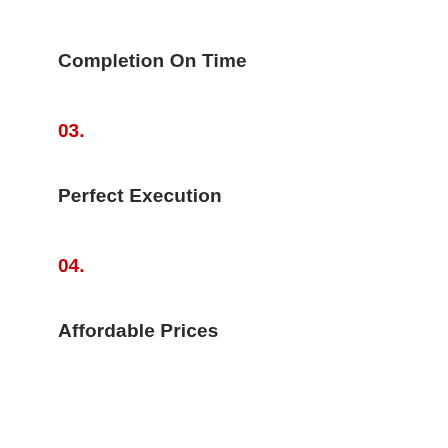Completion On Time
03.
Perfect Execution
04.
Affordable Prices